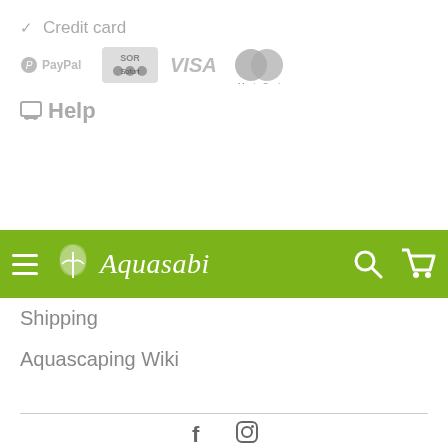✓ Credit card
[Figure (logo): Payment method logos: PayPal, Sofort, VISA, MasterCard]
Help
[Figure (screenshot): Aquasabi navigation bar with hamburger menu, logo, search and cart icons on green background]
Shipping
Aquascaping Wiki
Contact
Imprint
Privacy Policy
Right of withdrawal
Terms and conditions
[Figure (logo): Facebook and Instagram social media icons]